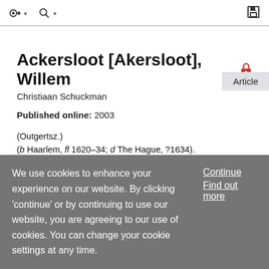Toolbar with navigation icons and save button
Article
Ackersloot [Akersloot], Willem 🔒
Christiaan Schuckman
Published online: 2003
(Outgertsz.)
(b Haarlem, fl 1620–34; d The Hague, ?1634).
Dutch engraver. He was the son of Outgert Arisz. Ackersloot
(fl 1631). In 1624 he became the brother-in-law of the artist
We use cookies to enhance your experience on our website. By clicking 'continue' or by continuing to use our website, you are agreeing to our use of cookies. You can change your cookie settings at any time.
Continue
Find out more